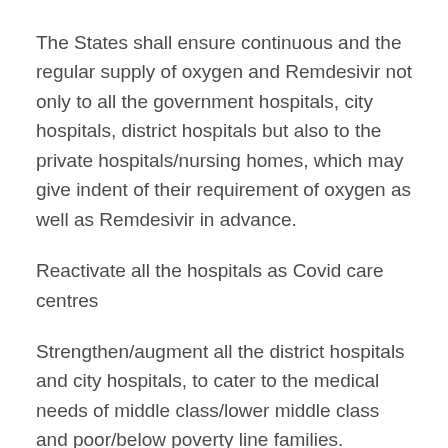The States shall ensure continuous and the regular supply of oxygen and Remdesivir not only to all the government hospitals, city hospitals, district hospitals but also to the private hospitals/nursing homes, which may give indent of their requirement of oxygen as well as Remdesivir in advance.
Reactivate all the hospitals as Covid care centres
Strengthen/augment all the district hospitals and city hospitals, to cater to the medical needs of middle class/lower middle class and poor/below poverty line families.
Rationalise the rates charged by the private hospitals/nursing homes and private